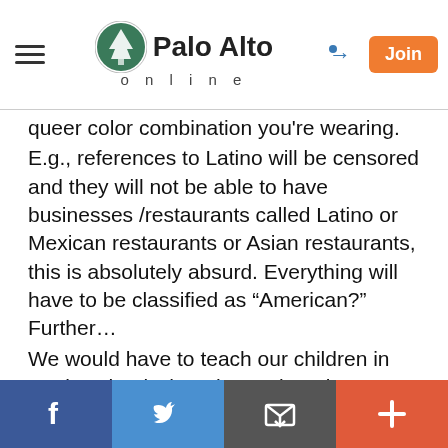Palo Alto online
queer color combination you're wearing.
E.g., references to Latino will be censored and they will not be able to have businesses /restaurants called Latino or Mexican restaurants or Asian restaurants, this is absolutely absurd. Everything will have to be classified as "American?" Further…
We would have to teach our children in grade school when they're learning to read those "words" which terms never to use ever - and they will never be able to read or understand any books prior the date they were educated or born. They will be PhD classes for old American jargon. This is nothing more than the burning of books, Censorship and where does that go ? Censorship is the keystone of communism.
Facebook | Twitter | Email | +